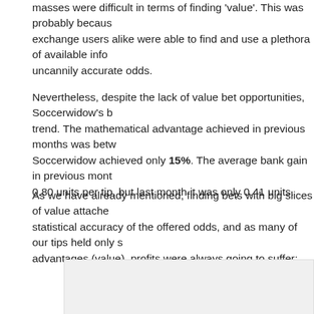masses were difficult in terms of finding 'value'. This was probably because exchange users alike were able to find and use a plethora of available info uncannily accurate odds.
Nevertheless, despite the lack of value bet opportunities, Soccerwidow's b trend. The mathematical advantage achieved in previous months was betw Soccerwidow achieved only 15%. The average bank gain in previous mont 0.80 units per tip, but last month it was only 0.41 units.
As we have already mentioned, finding bets with big slices of value attache statistical accuracy of the offered odds, and as many of our tips held only s advantages (value), profits were always going to suffer:
[Figure (other): A light grey rectangular box placeholder for a figure or chart, partially visible at the bottom of the page.]